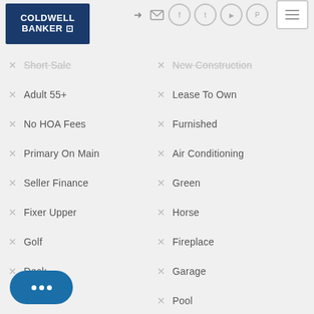[Figure (logo): Coldwell Banker logo — dark blue rectangle with white bold text]
Short Sale
New Construction
Adult 55+
Lease To Own
No HOA Fees
Furnished
Primary On Main
Air Conditioning
Seller Finance
Green
Fixer Upper
Horse
Golf
Fireplace
Deck
Garage
Pool